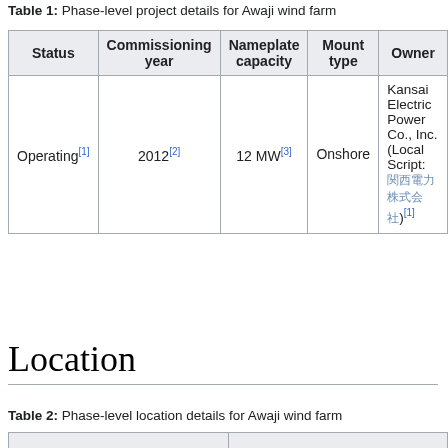Table 1: Phase-level project details for Awaji wind farm
| Status | Commissioning year | Nameplate capacity | Mount type | Owner |
| --- | --- | --- | --- | --- |
| Operating[1] | 2012[2] | 12 MW[3] | Onshore | Kansai Electric Power Co., Inc. (Local Script: 関西電力株式会社)[1] |
Location
Table 2: Phase-level location details for Awaji wind farm